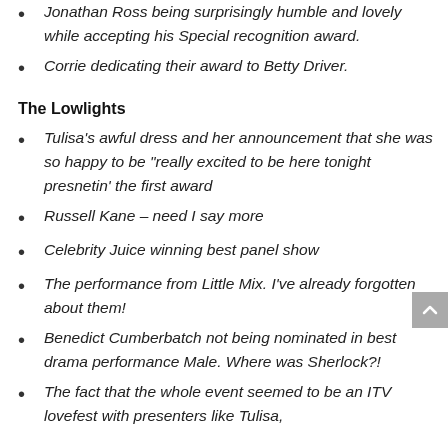Jonathan Ross being surprisingly humble and lovely while accepting his Special recognition award.
Corrie dedicating their award to Betty Driver.
The Lowlights
Tulisa's awful dress and her announcement that she was so happy to be "really excited to be here tonight presnetin' the first award
Russell Kane – need I say more
Celebrity Juice winning best panel show
The performance from Little Mix. I've already forgotten about them!
Benedict Cumberbatch not being nominated in best drama performance Male. Where was Sherlock?!
The fact that the whole event seemed to be an ITV lovefest with presenters like Tulisa,